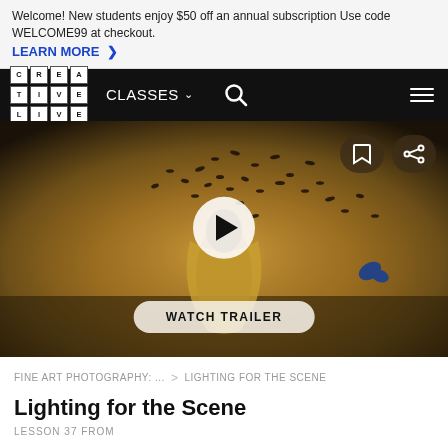Welcome! New students enjoy $50 off an annual subscription Use code WELCOME99 at checkout. LEARN MORE >
[Figure (screenshot): CreativeLive navigation bar with logo, CLASSES dropdown, search icon, and hamburger menu on black background]
[Figure (photo): Hero image of a woman in a golden dress with birds/butterflies swirling around her, dark moody field background. Overlaid: bookmark and share icons top-right, circular play button in center, WATCH TRAILER button at bottom.]
FINE ART PHOTOGRAPHY: ... > LIGHTING FOR THE SCENE
Lighting for the Scene
LESSON 37 FROM